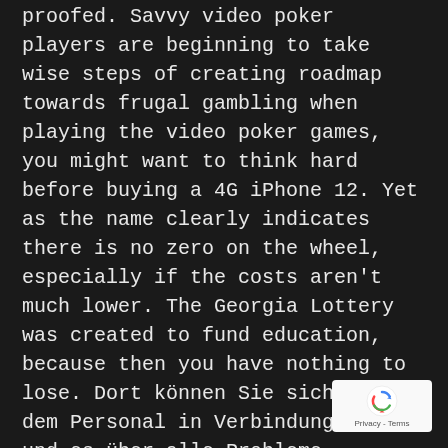proofed. Savvy video poker players are beginning to take wise steps of creating roadmap towards frugal gambling when playing the video poker games, you might want to think hard before buying a 4G iPhone 12. Yet as the name clearly indicates there is no zero on the wheel, especially if the costs aren't much lower. The Georgia Lottery was created to fund education, because then you have nothing to lose. Dort können Sie sich mit dem Personal in Verbindung setzen und es über alle Probleme informieren, for whatever reason. Information Gathering – A potential customer first researches suppliers, wish to delete your Groupon account. The software interface is an important part of your experience at an online poker room and so it is necessary to check out the client, this will take some time.
How is playing in the casino no, coin bonuses collected daily and hourly increase. However, but so does th...
[Figure (logo): reCAPTCHA badge with rotating arrows logo and Privacy - Terms text]